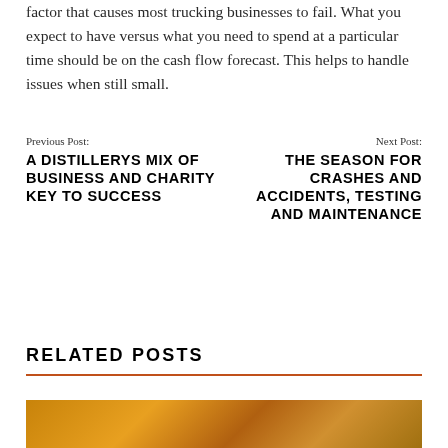factor that causes most trucking businesses to fail. What you expect to have versus what you need to spend at a particular time should be on the cash flow forecast. This helps to handle issues when still small.
Previous Post:
A DISTILLERYS MIX OF BUSINESS AND CHARITY KEY TO SUCCESS
Next Post:
THE SEASON FOR CRASHES AND ACCIDENTS, TESTING AND MAINTENANCE
RELATED POSTS
[Figure (photo): An orange/amber colored background image, appears to be a warm-toned atmospheric photo]